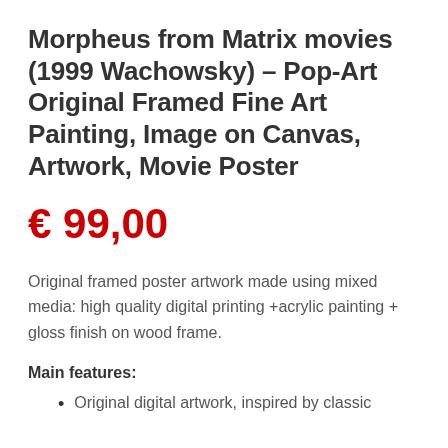Morpheus from Matrix movies (1999 Wachowsky) – Pop-Art Original Framed Fine Art Painting, Image on Canvas, Artwork, Movie Poster
€ 99,00
Original framed poster artwork made using mixed media: high quality digital printing +acrylic painting + gloss finish on wood frame.
Main features:
Original digital artwork, inspired by classic